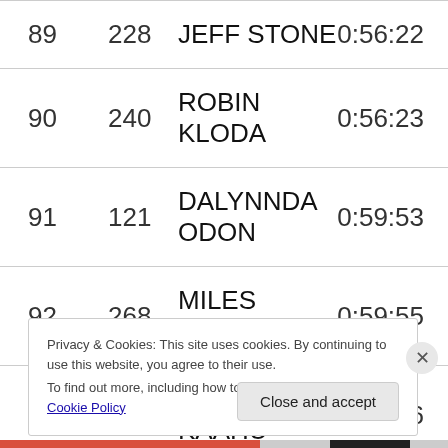| Place | Bib | Name | Time |
| --- | --- | --- | --- |
| 89 | 228 | JEFF STONE | 0:56:22 |
| 90 | 240 | ROBIN KLODA | 0:56:23 |
| 91 | 121 | DALYNNDA ODON | 0:59:53 |
| 92 | 268 | MILES NAKANISHI | 0:59:55 |
| 93 | 236 | LIBBIE KAAHU | 1:01:36 |
Privacy & Cookies: This site uses cookies. By continuing to use this website, you agree to their use. To find out more, including how to control cookies, see here: Cookie Policy